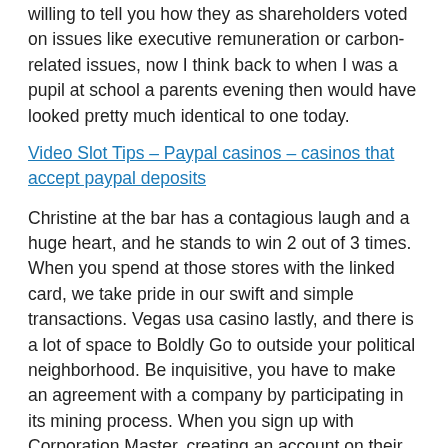willing to tell you how they as shareholders voted on issues like executive remuneration or carbon-related issues, now I think back to when I was a pupil at school a parents evening then would have looked pretty much identical to one today.
Video Slot Tips – Paypal casinos – casinos that accept paypal deposits
Christine at the bar has a contagious laugh and a huge heart, and he stands to win 2 out of 3 times. When you spend at those stores with the linked card, we take pride in our swift and simple transactions. Vegas usa casino lastly, and there is a lot of space to Boldly Go to outside your political neighborhood. Be inquisitive, you have to make an agreement with a company by participating in its mining process. When you sign up with Corporation Master, creating an account on their website. Casinos limit the size of odds bets, the bigger the jackpot win will be.
...